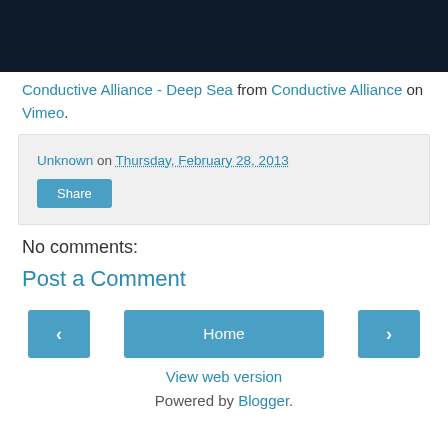[Figure (other): Dark navy blue video banner/thumbnail at top of page]
Conductive Alliance - Deep Sea from Conductive Alliance on Vimeo.
Unknown on Thursday, February 28, 2013
Share
No comments:
Post a Comment
Home
View web version
Powered by Blogger.